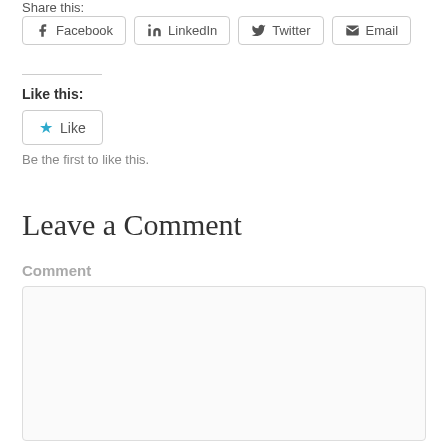Share this:
[Figure (other): Social sharing buttons: Facebook, LinkedIn, Twitter, Email]
Like this:
[Figure (other): Like button with star icon]
Be the first to like this.
Leave a Comment
Comment
[Figure (other): Empty comment text area input box]